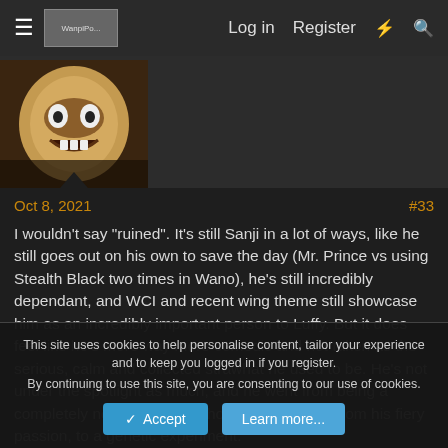Log in   Register
[Figure (screenshot): Anime character avatar image – masked/armored face with brown and cream tones]
Oct 8, 2021   #33
I wouldn't say "ruined". It's still Sanji in a lot of ways, like he still goes out on his own to save the day (Mr. Prince vs using Stealth Black two times in Wano), he's still incredibly dependant, and WCI and recent wing theme still showcase him as an incredibly important person to Luffy. But it does feel like he's more way more comedic and not taken as the serious, calm and collected strawhat he used to be. He's not under the spotlight as much, and he went from being a completely normal human who's powers came from his fiery passion, to a genetic experiment.
This site uses cookies to help personalise content, tailor your experience and to keep you logged in if you register.
By continuing to use this site, you are consenting to our use of cookies.